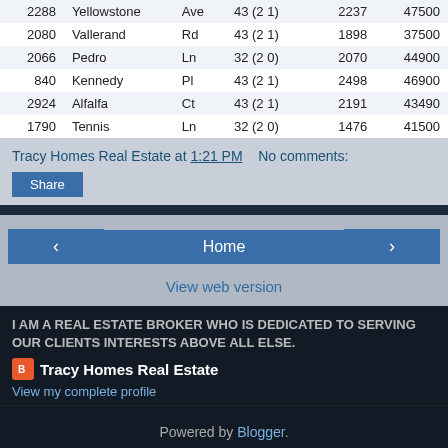| # | Street | Type | Zone | SqFt | Price |
| --- | --- | --- | --- | --- | --- |
| 2288 | Yellowstone | Ave | 43 (2 1) | 2237 | 47500 |
| 2080 | Vallerand | Rd | 43 (2 1) | 1898 | 37500 |
| 2066 | Pedro | Ln | 32 (2 0) | 2070 | 44900 |
| 840 | Kennedy | Pl | 43 (2 1) | 2498 | 46900 |
| 2924 | Alfalfa | Ct | 43 (2 1) | 2191 | 43490 |
| 1790 | Tennis | Ln | 32 (2 0) | 1476 | 41500 |
Tracy Homes Real Estate at 1:21 PM   No comments:
Share
Home
View web version
I AM A REAL ESTATE BROKER WHO IS DEDICATED TO SERVING OUR CLIENTS INTERESTS ABOVE ALL ELSE.
Tracy Homes Real Estate
View my complete profile
Powered by Blogger.